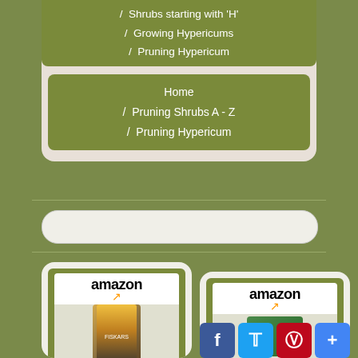/ Shrubs starting with 'H'
/ Growing Hypericums
/ Pruning Hypericum
Home / Pruning Shrubs A - Z / Pruning Hypericum
[Figure (screenshot): Amazon product listing for pruning shears (left)]
[Figure (screenshot): Amazon product listing for garden tool (right)]
[Figure (infographic): Social share buttons: Facebook, Twitter, Pinterest, Plus]